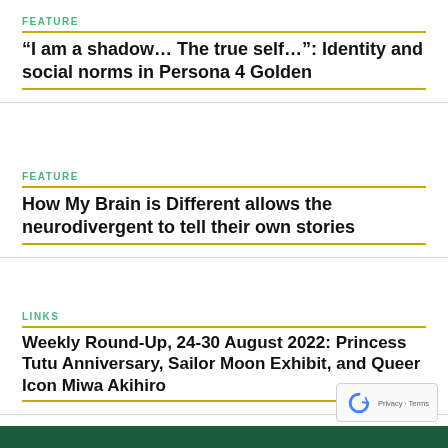FEATURE
“I am a shadow… The true self…”: Identity and social norms in Persona 4 Golden
FEATURE
How My Brain is Different allows the neurodivergent to tell their own stories
LINKS
Weekly Round-Up, 24-30 August 2022: Princess Tutu Anniversary, Sailor Moon Exhibit, and Queer Icon Miwa Akihiro